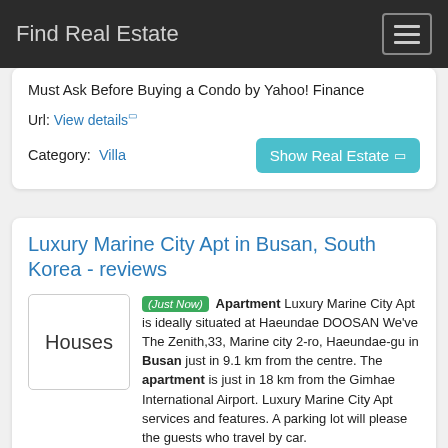Find Real Estate
Must Ask Before Buying a Condo by Yahoo! Finance
Url: View details
Category: Villa
Luxury Marine City Apt in Busan, South Korea - reviews
[Figure (other): Houses placeholder box with text 'Houses']
(Just Now) Apartment Luxury Marine City Apt is ideally situated at Haeundae DOOSAN We've The Zenith,33, Marine city 2-ro, Haeundae-gu in Busan just in 9.1 km from the centre. The apartment is just in 18 km from the Gimhae International Airport. Luxury Marine City Apt services and features. A parking lot will please the guests who travel by car.
Url: View details